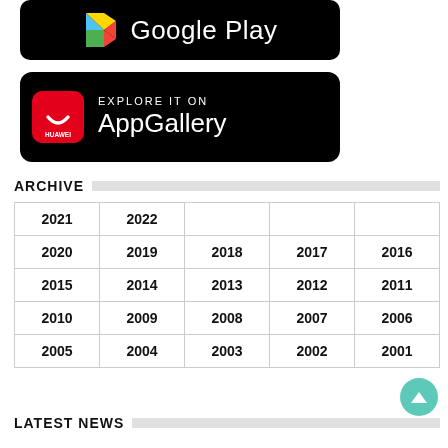[Figure (logo): Google Play store badge — black rounded rectangle with Google Play icon and text 'Google Play']
[Figure (logo): Huawei AppGallery badge — black rounded rectangle with red Huawei icon, text 'EXPLORE IT ON AppGallery']
ARCHIVE
| 2021 | 2022 |  |  |  |
| 2020 | 2019 | 2018 | 2017 | 2016 |
| 2015 | 2014 | 2013 | 2012 | 2011 |
| 2010 | 2009 | 2008 | 2007 | 2006 |
| 2005 | 2004 | 2003 | 2002 | 2001 |
LATEST NEWS